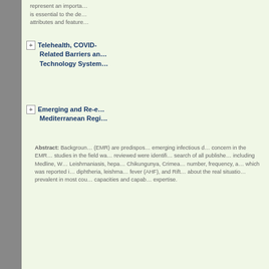represent an importa… is essential to the de… attributes and feature…
Telehealth, COVID-Related Barriers and Technology System…
Emerging and Re-e… Mediterranean Regi…
Abstract: Background (EMR) are predispos… emerging infectious d… concern in the EMR… studies in the field wa… reviewed were identi… search of all publishe… including Medline, W… Leishmaniasis, hepa… Chikungunya, Crime… number, frequency, a… which was reported i… diphtheria, leishman… fever (AHF), and Rift… about the real situatio… prevalent in most cou… capacities and capab… expertise.